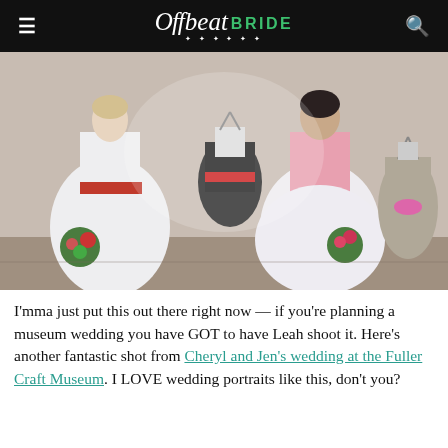≡  Offbeat BRIDE  🔍
[Figure (photo): Two women in white wedding dresses with colorful sashes holding floral bouquets, standing in front of a museum wall displaying two decorative dresses on mannequins.]
I'mma just put this out there right now — if you're planning a museum wedding you have GOT to have Leah shoot it. Here's another fantastic shot from Cheryl and Jen's wedding at the Fuller Craft Museum. I LOVE wedding portraits like this, don't you?